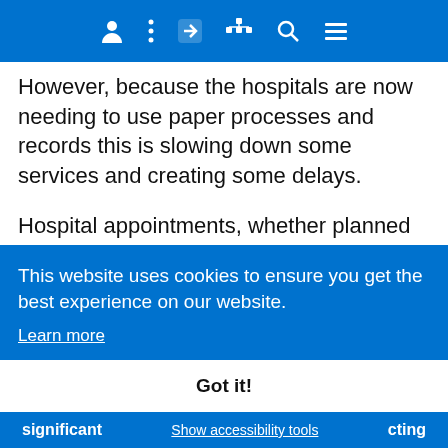Navigation bar with icons: user, menu, share, sitemap, search, hamburger
However, because the hospitals are now needing to use paper processes and records this is slowing down some services and creating some delays.
Hospital appointments, whether planned surgery or an outpatient clinic, are running as normal. Patients should attend unless they are contacted directly by the Trust and told otherwise.

or... Chief Medical Officer, Northern Care Alliance NHS Trust

said...

We are still working hard to resolve the significant
This website uses cookies to ensure you get the best experience on our website.
Learn more
Got it!
significant   Show accessibility tools   cting